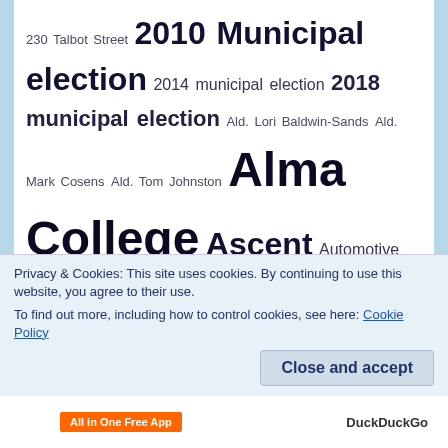[Figure (infographic): Tag cloud containing various terms related to St. Thomas municipal topics, elections, local government, and community issues, with varying font sizes indicating frequency/importance.]
Privacy & Cookies: This site uses cookies. By continuing to use this website, you agree to their use.
To find out more, including how to control cookies, see here: Cookie Policy
Close and accept
All in One Free App   DuckDuckGo